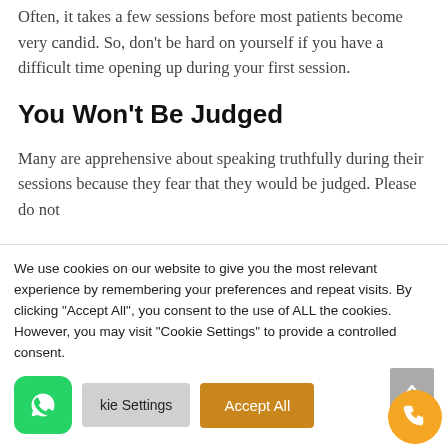Often, it takes a few sessions before most patients become very candid. So, don't be hard on yourself if you have a difficult time opening up during your first session.
You Won't Be Judged
Many are apprehensive about speaking truthfully during their sessions because they fear that they would be judged. Please do not
We use cookies on our website to give you the most relevant experience by remembering your preferences and repeat visits. By clicking "Accept All", you consent to the use of ALL the cookies. However, you may visit "Cookie Settings" to provide a controlled consent.
[Figure (other): Cookie consent banner with WhatsApp button, Cookie Settings button, Accept All button, scroll-to-top arrow button, and phone FAB button]